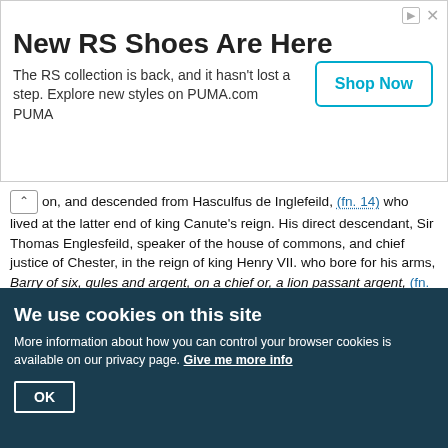[Figure (other): Advertisement banner for PUMA RS Shoes with 'Shop Now' button]
on, and descended from Hasculfus de Inglefeild, (fn. 14) who lived at the latter end of king Canute's reign. His direct descendant, Sir Thomas Englesfeild, speaker of the house of commons, and chief justice of Chester, in the reign of king Henry VII. who bore for his arms, Barry of six, gules and argent, on a chief or, a lion passant argent, (fn. 15) alienated this manor about the latter end of that reign to John Sedley, esq. auditor of the exchequer to that prince, whose descendant sold it to Wentworth; and Richard lord Wentworth, in the 2d and 3d year of Philip and Mary, conveyed it by sale to Mr. Thomas Polley, and his great grandson, Geo. Polley, esq. passed it away to Rob. Lee, gent. of Chatham, whose son, William Lee, esq. was surveyor of the navy in the reign of queen Anne. He was twice married, first to Elizabeth, daughter of Samuel Pett, esq. and secondly to Catherine, daughter of William Johnson, esq. by neither of whom he had issue. He died in 1757, much advanced in years, (fn. 16) and by his will gave this estate to his kinswomen
We use cookies on this site
More information about how you can control your browser cookies is available on our privacy page. Give me more info
OK